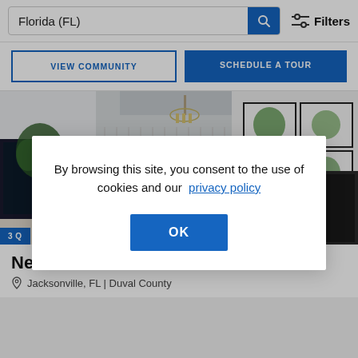Florida (FL)
VIEW COMMUNITY
SCHEDULE A TOUR
[Figure (photo): Interior of a two-story home showing a high ceiling, staircase with white railings, chandelier, large TV on left wall, and a gallery wall with four framed botanical prints on the right wall]
3 Q
By browsing this site, you consent to the use of cookies and our privacy policy
OK
Ne
Jacksonville, FL | Duval County